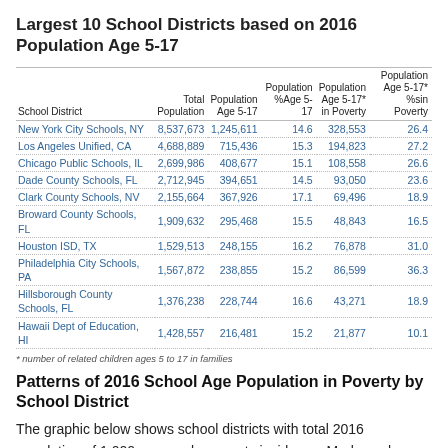Largest 10 School Districts based on 2016 Population Age 5-17
| School District | Total Population | Population Age 5-17 | Population %Age 5-17 | Population Age 5-17* in Poverty | Population Age 5-17* %sin Poverty |
| --- | --- | --- | --- | --- | --- |
| New York City Schools, NY | 8,537,673 | 1,245,611 | 14.6 | 328,553 | 26.4 |
| Los Angeles Unified, CA | 4,688,889 | 715,436 | 15.3 | 194,823 | 27.2 |
| Chicago Public Schools, IL | 2,699,986 | 408,677 | 15.1 | 108,558 | 26.6 |
| Dade County Schools, FL | 2,712,945 | 394,651 | 14.5 | 93,050 | 23.6 |
| Clark County Schools, NV | 2,155,664 | 367,926 | 17.1 | 69,496 | 18.9 |
| Broward County Schools, FL | 1,909,632 | 295,468 | 15.5 | 48,843 | 16.5 |
| Houston ISD, TX | 1,529,513 | 248,155 | 16.2 | 76,878 | 31.0 |
| Philadelphia City Schools, PA | 1,567,872 | 238,855 | 15.2 | 86,599 | 36.3 |
| Hillsborough County Schools, FL | 1,376,238 | 228,744 | 16.6 | 43,271 | 18.9 |
| Hawaii Dept of Education, HI | 1,428,557 | 216,481 | 15.2 | 21,877 | 10.1 |
* number of related children ages 5 to 17 in families
Patterns of 2016 School Age Population in Poverty by School District
The graphic below shows school districts with total 2016 population of 1,000 or more by poverty incidence. Markers show the population ages 5-17 in families in poverty as a percent of population ages 5-17. Salmon markers: 40-50%. Red markers: 50% or more.